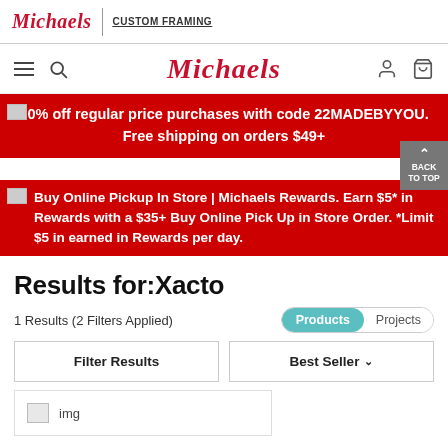Michaels | CUSTOM FRAMING
[Figure (screenshot): Michaels website navigation bar with hamburger, search, Michaels script logo, user and cart icons]
[Figure (screenshot): Red promo banner: 20% off regular price purchases with code 22MADEBYYOU. Free shipping on orders $49+]
[Figure (screenshot): Red promo banner: Buy Online Pickup In Store | Michaels Rewards. Earn $5* in Rewards with a $35+ Buy Online Pick Up in Store Order. *Limit $5 in earned in Rewards per day.]
Results for:Xacto
1 Results (2 Filters Applied)
Products | Projects
Filter Results
Best Seller
[Figure (photo): Broken image placeholder with label 'img' for a product result]